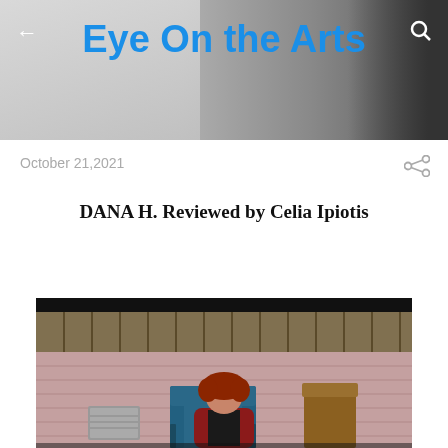Eye On the Arts
October 21, 2021
DANA H. Reviewed by Celia Ipiotis
[Figure (photo): A woman with curly red hair wearing a red jacket and black outfit sits in a blue chair on a theatrical stage with pink/mauve brick wall backdrop, olive curtains above, and a window air conditioning unit visible on the left.]